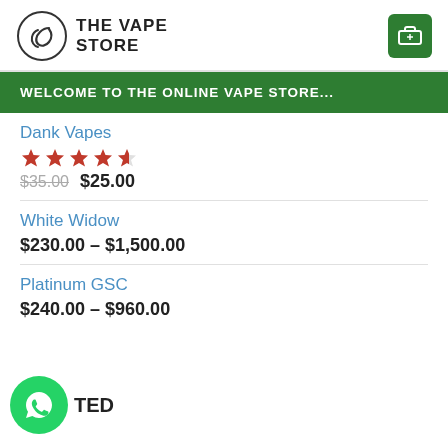THE VAPE STORE
WELCOME TO THE ONLINE VAPE STORE...
Dank Vapes — Rating: 4.5 stars — $35.00  $25.00
White Widow — $230.00 – $1,500.00
Platinum GSC — $240.00 – $960.00
[Figure (illustration): WhatsApp floating button (green circle with phone handset icon) at bottom left, with partially visible text 'TED' to the right]